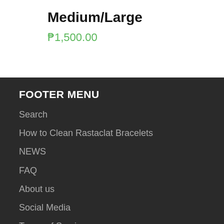Medium/Large
₱1,500.00
FOOTER MENU
Search
How to Clean Rastaclat Bracelets
NEWS
FAQ
About us
Social Media
Terms of Service